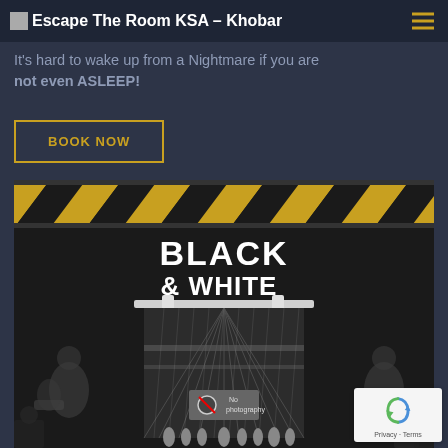Escape The Room KSA – Khobar
It's hard to wake up from a Nightmare if you are not even ASLEEP!
BOOK NOW
[Figure (illustration): Promotional escape room image showing a dark scene with black and yellow hazard stripes at top, title 'BLACK & WHITE' in large bold text, and a dark moody scene featuring mannequin-like figures, net/web structures, and a 'No photography' sign in the center. The overall aesthetic is dark grey/black with dramatic lighting.]
[Figure (logo): reCAPTCHA badge with the Google reCAPTCHA logo (blue/green arrows), and Privacy - Terms links below.]